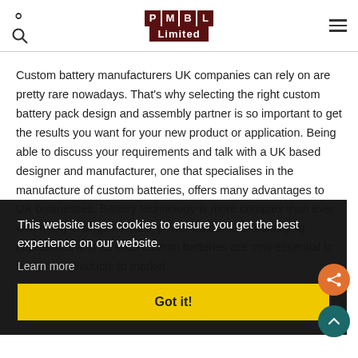PMBL Limited
Custom battery manufacturers UK companies can rely on are pretty rare nowadays. That's why selecting the right custom battery pack design and assembly partner is so important to get the results you want for your new product or application. Being able to discuss your requirements and talk with a UK based designer and manufacturer, one that specialises in the manufacture of custom batteries, offers many advantages to UK businesses. Battery technology is more complex than ever with many changes in size, power output and recharging capabilities and as such custom batteries are now essential to bring new products to market.
This website uses cookies to ensure you get the best experience on our website.
Learn more
Got it!